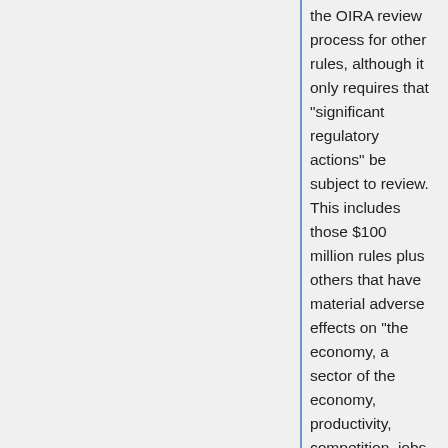the OIRA review process for other rules, although it only requires that “significant regulatory actions” be subject to review. This includes those $100 million rules plus others that have material adverse effects on “the economy, a sector of the economy, productivity, competition, jobs